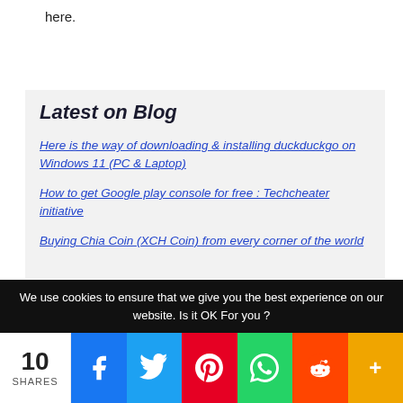here.
Latest on Blog
Here is the way of downloading & installing duckduckgo on Windows 11 (PC & Laptop)
How to get Google play console for free : Techcheater initiative
Buying Chia Coin (XCH Coin) from every corner of the world
We use cookies to ensure that we give you the best experience on our website. Is it OK For you ?
10 SHARES